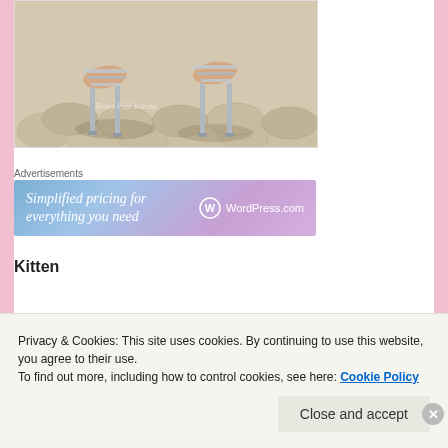[Figure (illustration): Close-up illustration of feet wearing strappy silver high-heel sandals on a tiled surface with shadows]
Advertisements
[Figure (infographic): WordPress.com advertisement banner: 'Simplified pricing for everything you need' with WordPress logo]
Kitten
Privacy & Cookies: This site uses cookies. By continuing to use this website, you agree to their use.
To find out more, including how to control cookies, see here: Cookie Policy
Close and accept